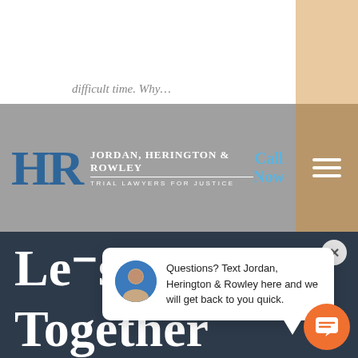difficult time. Why…
[Figure (logo): Jordan, Herington & Rowley law firm logo with HR monogram and tagline Trial Lawyers for Justice]
Call Now
Questions? Text Jordan, Herington & Rowley here and we will get back to you quick.
Let's Work Together